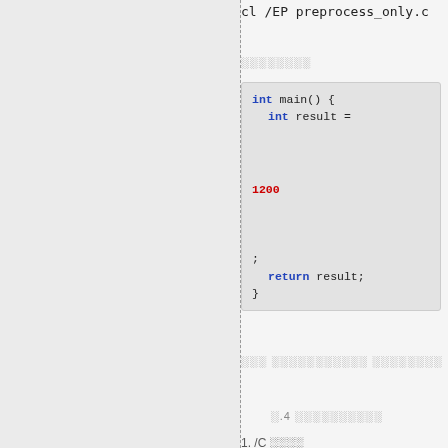cl /EP preprocess_only.c
░░░░░░░░
[Figure (screenshot): Code block showing C code with 'int main() {', 'int result =', '1200' in red, ';', 'return result;', '}'. Keywords 'int' and 'return' in blue.]
░░░ ░░░░░░░░░░░ ░░░░░░░░
░.4 ░░░░░░░░░░
1. /C ░░░░
don't strip comments░░░░░░░░